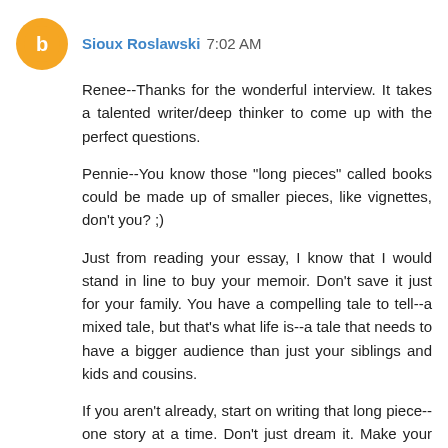Sioux Roslawski 7:02 AM
Renee--Thanks for the wonderful interview. It takes a talented writer/deep thinker to come up with the perfect questions.
Pennie--You know those "long pieces" called books could be made up of smaller pieces, like vignettes, don't you? ;)
Just from reading your essay, I know that I would stand in line to buy your memoir. Don't save it just for your family. You have a compelling tale to tell--a mixed tale, but that's what life is--a tale that needs to have a bigger audience than just your siblings and kids and cousins.
If you aren't already, start on writing that long piece--one story at a time. Don't just dream it. Make your dream public (share it on your blog/on Facebook/tell your friends and family who have pester and persistence potential) and give yourself a deadline to finish your first draft. A year from now? A year and a half from now? (Make that goal/deadline public, too. That way, it'll make you feel a bit accountable.)